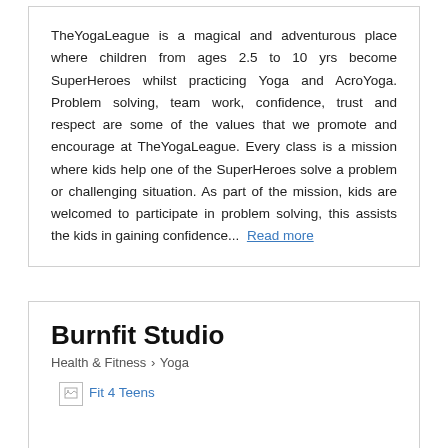TheYogaLeague is a magical and adventurous place where children from ages 2.5 to 10 yrs become SuperHeroes whilst practicing Yoga and AcroYoga. Problem solving, team work, confidence, trust and respect are some of the values that we promote and encourage at TheYogaLeague. Every class is a mission where kids help one of the SuperHeroes solve a problem or challenging situation. As part of the mission, kids are welcomed to participate in problem solving, this assists the kids in gaining confidence...  Read more
Burnfit Studio
Health & Fitness > Yoga
[Figure (photo): Broken image placeholder with link text 'Fit 4 Teens' in blue]